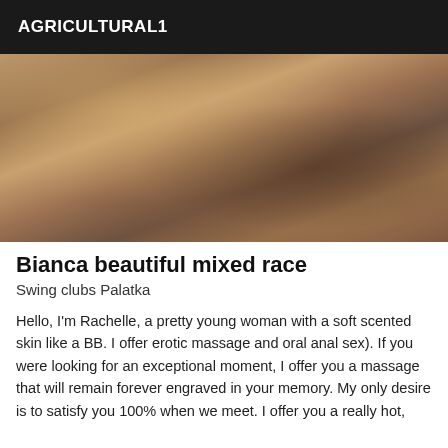AGRICULTURAL1
[Figure (photo): Photo of a woman near a bed]
Bianca beautiful mixed race
Swing clubs Palatka
Hello, I'm Rachelle, a pretty young woman with a soft scented skin like a BB. I offer erotic massage and oral anal sex). If you were looking for an exceptional moment, I offer you a massage that will remain forever engraved in your memory. My only desire is to satisfy you 100% when we meet. I offer you a really hot,